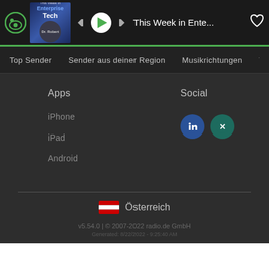[Figure (screenshot): Radio.de app player bar with logo, album art for Enterprise Tech podcast, playback controls (prev, play, next), track title 'This Week in Ente...', and heart icon]
Top Sender   Sender aus deiner Region   Musikrichtungen   T
Apps
Social
iPhone
iPad
Android
Österreich
v5.54.0 | © 2007-2022 radio.de GmbH
Generated: 8/22/2022 - 9:25:40 AM